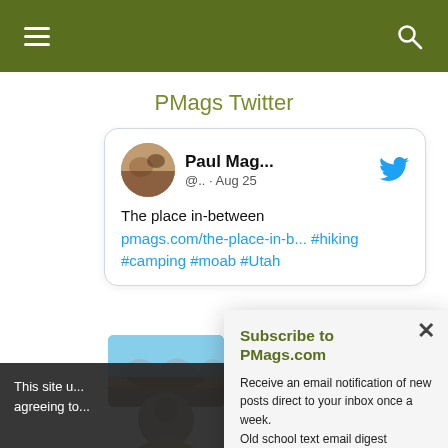PMags Twitter
PMags Twitter
[Figure (screenshot): Tweet card from Paul Mag... @.. · Aug 25 with text: The place in-between pmags.com/the-place-in-b... #hiking #camping #moab #Utah]
This site u... agreeing to...
Subscribe to PMags.com
Receive an email notification of new posts direct to your inbox once a week.
Old school text email digest
It is easy!
CLICK HERE TO SUBSCRIBE